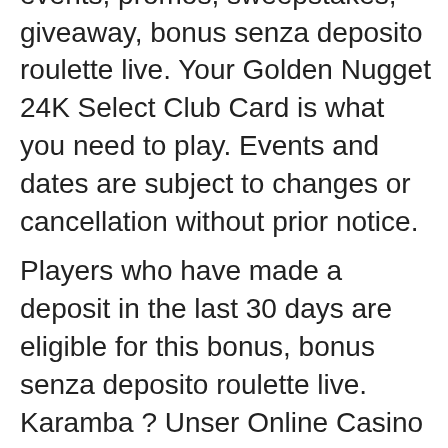those upcoming Golden Nugget events, promos, sweepstakes, giveaway, bonus senza deposito roulette live. Your Golden Nugget 24K Select Club Card is what you need to play. Events and dates are subject to changes or cancellation without prior notice.
Players who have made a deposit in the last 30 days are eligible for this bonus, bonus senza deposito roulette live. Karamba ? Unser Online Casino Echtgeld Testsieger NetBet ? Echtgeld Online Casino der ersten Stunde Royal Panda ? Echtgeld Casino mit vielen Jackpot Slots Betway ? Unter den Online Casinos bester Blackjack Anbieter CasinoClub ? 2 Deutsche Live Roulette Tische mit echtem Geld DruckGluck ? Online Slots wie Book of Dead mit Echtgeld online spielen 888casino ? Free Play Online Casino Bonus ohne Einzahlung Ladbrokes ? Spielt hier Playtech Echtgeld